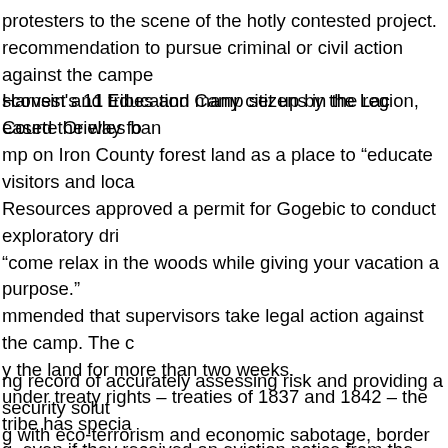protesters to the scene of the hotly contested project. recommendation to pursue criminal or civil action against the campe Harvest and Education Camp set up by the Lac Courte Orielles ban
sconsin's 11 tribes and many citizens in the region, eased the way fo
mp on Iron County forest land as a place to “educate visitors and loca
Resources approved a permit for Gogebic to conduct exploratory dri “come relax in the woods while giving your vacation a purpose.” mmended that supervisors take legal action against the camp. The c y the land for more than two weeks. under treaty rights – treaties of 1837 and 1842 – the tribe has specia g, even if they received an eviction notice from the county. rofessional Services opened an investigation after receiving complai ed guards were assigned to protect the mining operations after conf
ng record of accurately assessing risk and providing a security solut g with eco-terrorism and economic sabotage, border security, de-bug their website, it was revealed that Bulletproof had been li